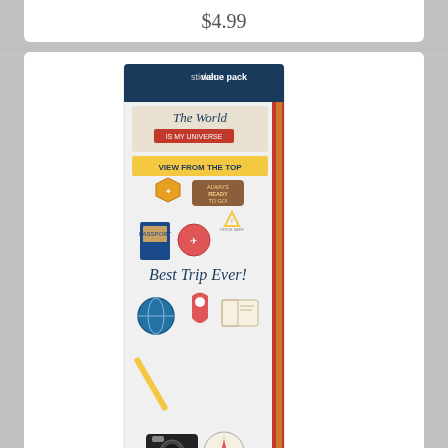$4.99
[Figure (photo): Cardstock sticker value pack showing travel-themed stickers including globe, compass, passport, camera, and text 'Best Trip Ever!' and 'The World' and 'View From The Top']
Cardstock Sticker 2/Pkg-World Travel & Big Adventure
$3.99
[Figure (photo): Partially visible product card with lavender/purple background and decorative scroll design]